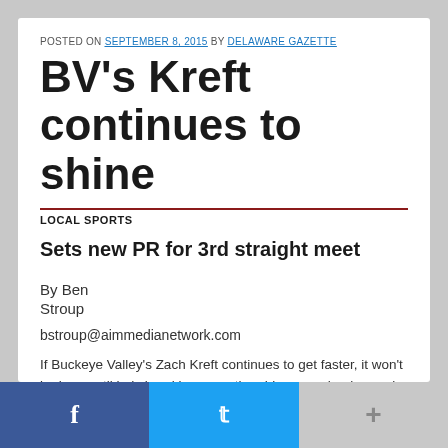POSTED ON SEPTEMBER 8, 2015 BY DELAWARE GAZETTE
BV's Kreft continues to shine
LOCAL SPORTS
Sets new PR for 3rd straight meet
By Ben Stroup

bstroup@aimmedianetwork.com

If Buckeye Valley's Zach Kreft continues to get faster, it won't be long until he's breaking more than his own school record.